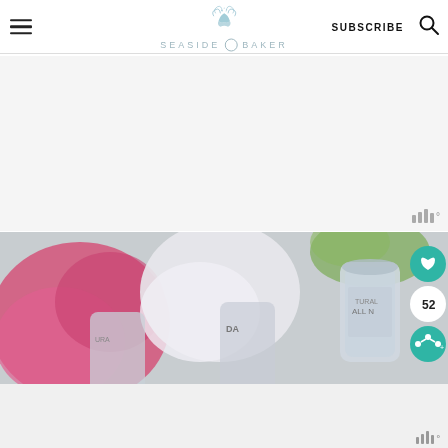The Seaside Baker — SUBSCRIBE
[Figure (photo): Advertisement placeholder area, light gray background with Mediavine badge (bar chart icon with degree symbol) in bottom right]
[Figure (photo): Top-down photo of pink and white flowers (peonies/hydrangeas) alongside cans of sparkling water on a marble surface, with overlaid UI: teal heart button (52 saves), share button]
[Figure (screenshot): Blue banner ad overlay at bottom with italic text 'You okay?' and an X close button; Mediavine badge in bottom right corner]